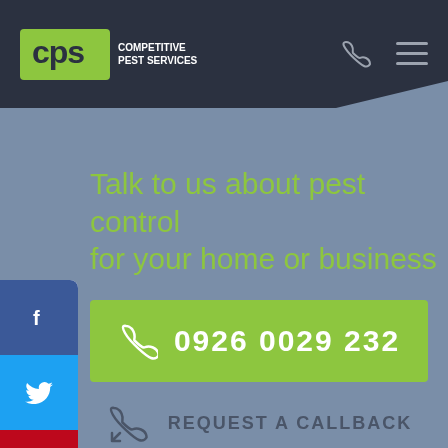CPS Competitive Pest Services
Talk to us about pest control for your home or business
0926 0029 232
REQUEST A CALLBACK